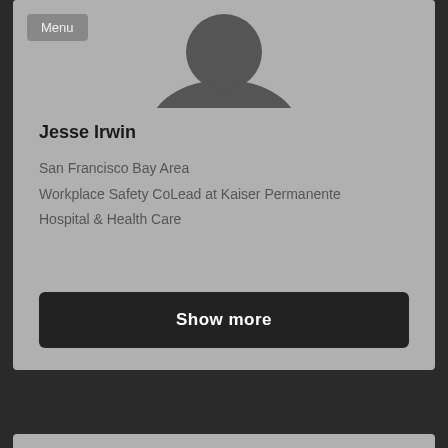[Figure (photo): Generic avatar silhouette of a person on a grey background]
Jesse Irwin
San Francisco Bay Area
Workplace Safety CoLead at Kaiser Permanente
Hospital & Health Care
Show more